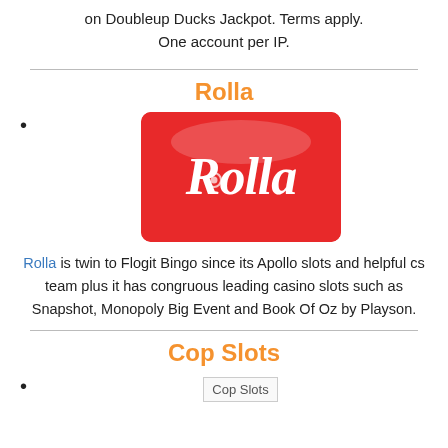on Doubleup Ducks Jackpot. Terms apply. One account per IP.
Rolla
[Figure (logo): Rolla casino logo — red rounded rectangle with white cursive 'Rolla' text]
Rolla is twin to Flogit Bingo since its Apollo slots and helpful cs team plus it has congruous leading casino slots such as Snapshot, Monopoly Big Event and Book Of Oz by Playson.
Cop Slots
[Figure (logo): Cop Slots logo image (broken/loading image placeholder)]